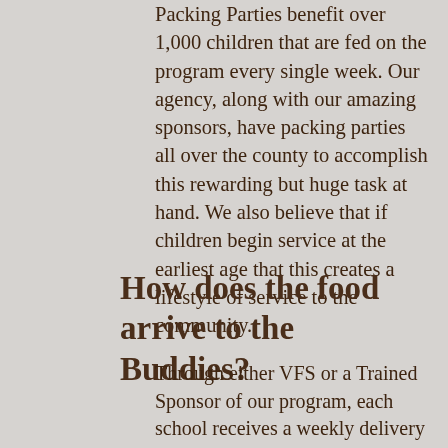Packing Parties benefit over 1,000 children that are fed on the program every single week. Our agency, along with our amazing sponsors, have packing parties all over the county to accomplish this rewarding but huge task at hand. We also believe that if children begin service at the earliest age that this creates a lifestyle of service to the community.
How does the food arrive to the Buddies?
Through either VFS or a Trained Sponsor of our program, each school receives a weekly delivery of Buddy Food Bags by no later than Thursday to the school counselor. School counselors make sure each Buddy receives their bag privately on Fridays for over the weekend.